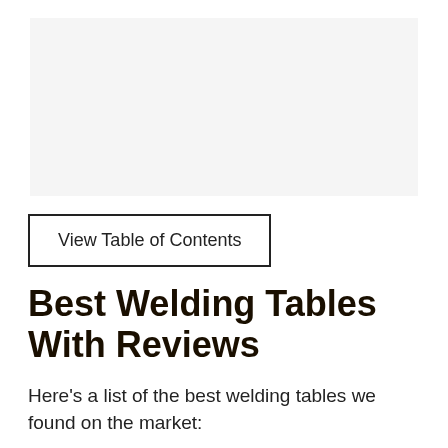[Figure (photo): Image placeholder area showing a welding table or related product photo]
View Table of Contents
Best Welding Tables With Reviews
Here's a list of the best welding tables we found on the market:
1. BuildPro Modular Welding Table